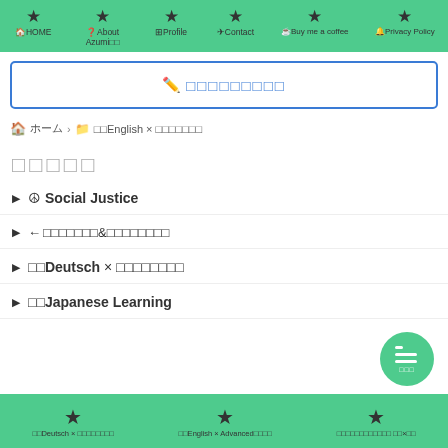HOME  About Azumi  Profile  Contact  Buy me a coffee  Privacy Policy
✏ ９文字テキスト (search box)
🏠 ホーム > 📁 □□English × □□□□□□□
□□□□□
☮Social Justice
← □□□□□□□&□□□□□□□□
□□Deutsch × □□□□□□□□
□□Japanese Learning
□□Deutsch × □□□□□□□□  □□English × Advanced□□□□  □□□□□□□□□□□□ □□×□□